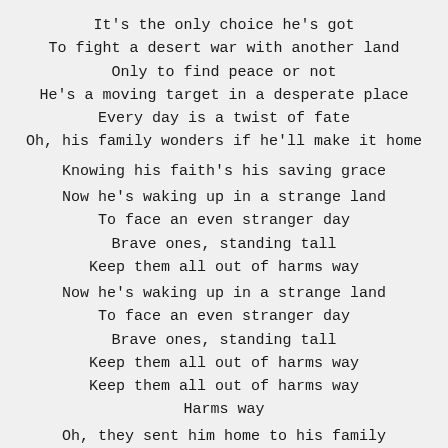It's the only choice he's got
To fight a desert war with another land
Only to find peace or not
He's a moving target in a desperate place
Every day is a twist of fate
Oh, his family wonders if he'll make it home
Knowing his faith's his saving grace
Now he's waking up in a strange land
To face an even stranger day
Brave ones, standing tall
Keep them all out of harms way
Now he's waking up in a strange land
To face an even stranger day
Brave ones, standing tall
Keep them all out of harms way
Keep them all out of harms way
Harms way
Oh, they sent him home to his family